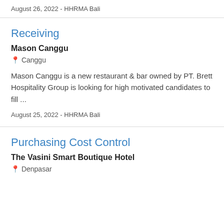August 26, 2022 - HHRMA Bali
Receiving
Mason Canggu
📍 Canggu
Mason Canggu is a new restaurant & bar owned by PT. Brett Hospitality Group is looking for high motivated candidates to fill ...
August 25, 2022 - HHRMA Bali
Purchasing Cost Control
The Vasini Smart Boutique Hotel
📍 Denpasar